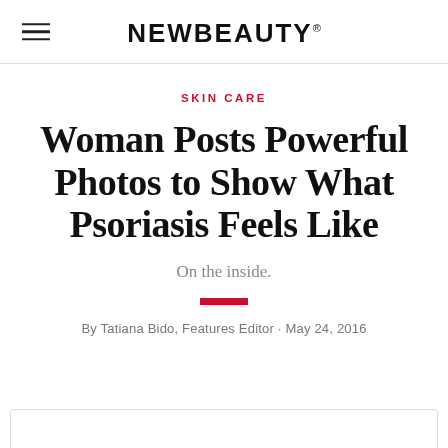NEWBEAUTY
SKIN CARE
Woman Posts Powerful Photos to Show What Psoriasis Feels Like
On the inside.
By Tatiana Bido, Features Editor · May 24, 2016